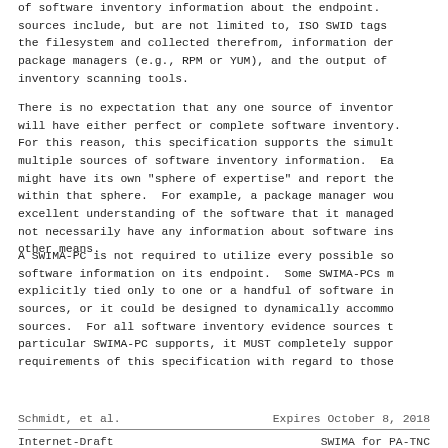of software inventory information about the endpoint. sources include, but are not limited to, ISO SWID tags the filesystem and collected therefrom, information der package managers (e.g., RPM or YUM), and the output of inventory scanning tools.
There is no expectation that any one source of inventor will have either perfect or complete software inventory. For this reason, this specification supports the simult multiple sources of software inventory information. Ea might have its own "sphere of expertise" and report the within that sphere. For example, a package manager wou excellent understanding of the software that it managed not necessarily have any information about software ins other means.
A SWIMA-PC is not required to utilize every possible so software information on its endpoint. Some SWIMA-PCs m explicitly tied only to one or a handful of software in sources, or it could be designed to dynamically accommo sources. For all software inventory evidence sources t particular SWIMA-PC supports, it MUST completely suppor requirements of this specification with regard to those
Schmidt, et al.         Expires October 8, 2018
Internet-Draft          SWIMA for PA-TNC